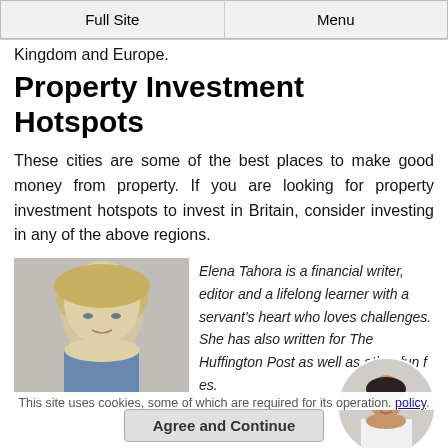Full Site | Menu
Kingdom and Europe.
Property Investment Hotspots
These cities are some of the best places to make good money from property. If you are looking for property investment hotspots to invest in Britain, consider investing in any of the above regions.
[Figure (photo): Photo of Elena Tahora, a blonde woman]
Elena Tahora is a financial writer, editor and a lifelong learner with a servant's heart who loves challenges. She has also written for The Huffington Post as well as other fun f...s.
[Figure (photo): Circular photo of a dark-haired woman in white]
This site uses cookies, some of which are required for its ope... policy.
Agree and Continue